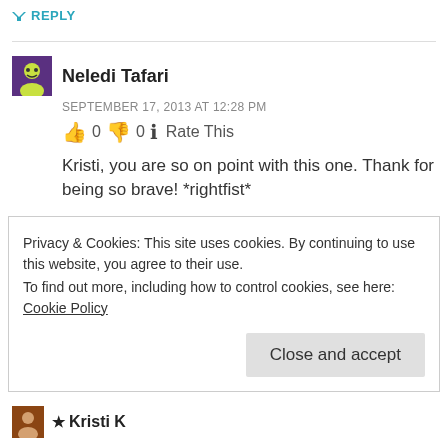↳ REPLY
Neledi Tafari
SEPTEMBER 17, 2013 AT 12:28 PM
👍 0 👎 0 ℹ Rate This
Kristi, you are so on point with this one. Thank for being so brave! *rightfist*
Privacy & Cookies: This site uses cookies. By continuing to use this website, you agree to their use.
To find out more, including how to control cookies, see here: Cookie Policy
Close and accept
★ Kristi K